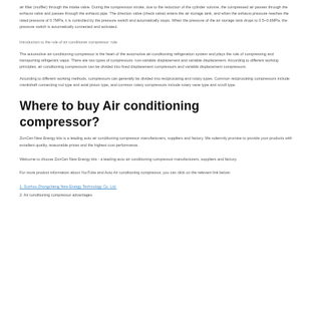air filter (muffler) through the intake valve. During the compression stroke, due to the reduction of the cylinder volume, the compressed air passes through the exhaust valve and passes through the exhaust pipe. The direction valve (check valve) enters the air storage tank, and when the exhaust pressure reaches the rated pressure of 0.7MPa, it is controlled by the pressure switch and automatically stops. When the pressure of the air storage tank drops to 0.5~0.6MPa, the pressure switch is automatically connected and activated.
Introduction to the role of air conditioner compressor: role
The automotive air-conditioning compressor is the heart of the automotive air-conditioning refrigeration system and plays the role of compressing and transporting refrigerant vapor. There are two types of compressors: non-variable displacement and variable displacement. According to different working principles, air conditioning compressors can be divided into fixed displacement compressors and variable displacement compressors.
According to different working methods, compressors can generally be divided into reciprocating and rotary types. Common reciprocating compressors include crankshaft connecting rod type and axial piston type, and common rotary compressors include rotary vane type and scroll type.
Where to buy Air conditioning compressor?
ZonCen New Energy kits is a leading auto air conditioning compressor manufacturers, suppliers and factory. We solemnly promise to provide your products with excellent quality, reasonable prices and the highest cost performance.
Welcome to choose ZonCen New Energy kits - a leading auto air conditioning compressor manufacturers, suppliers and factory.
For more product information about YouTube and Auto Air conditioning compressor, you can click on the relevant link below:
1. Suzhou Zhongcheng New Energy Technology Co. Ltd.
2. Air conditioning compressor advantages